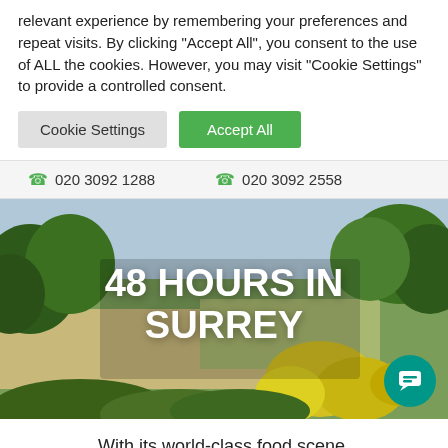relevant experience by remembering your preferences and repeat visits. By clicking "Accept All", you consent to the use of ALL the cookies. However, you may visit "Cookie Settings" to provide a controlled consent.
Cookie Settings  |  Accept All
020 3092 1288    020 3092 2558
[Figure (photo): Aerial countryside photo of Surrey hills with green trees, yellow wildflowers in foreground, rolling farmland in background]
48 HOURS IN SURREY
With its world-class food scene, picture-perfect villages, pretty